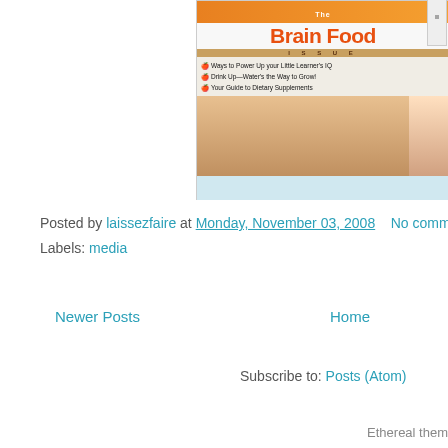[Figure (photo): Magazine cover showing 'Brain Food Issue' with text: Ways to Power Up your Little Learner's IQ, Drink Up—Water's the Way to Grow!, Your Guide to Dietary Supplements]
Posted by laissezfaire at Monday, November 03, 2008   No comments:
Labels: media
Newer Posts
Home
Subscribe to: Posts (Atom)
Ethereal them